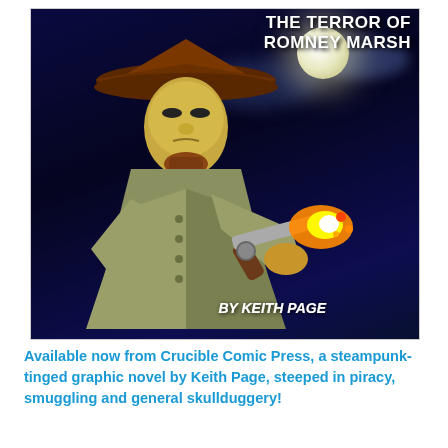[Figure (illustration): Comic book cover illustration showing a masked figure wearing a brown tricorn hat and long coat, holding a flintlock pistol with muzzle flash. Dark night sky background with a full moon and clouds. Text reads 'THE TERROR OF ROMNEY MARSH' at top and 'BY KEITH PAGE' at bottom right.]
Available now from Crucible Comic Press, a steampunk-tinged graphic novel by Keith Page, steeped in piracy, smuggling and general skullduggery!